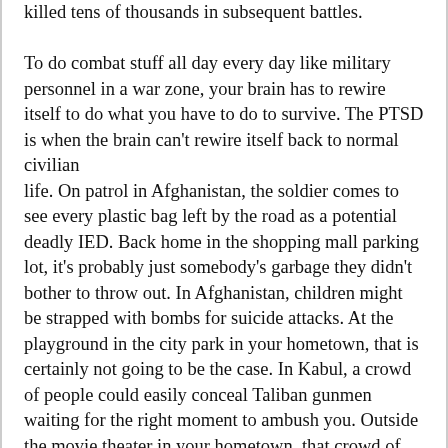killed tens of thousands in subsequent battles. To do combat stuff all day every day like military personnel in a war zone, your brain has to rewire itself to do what you have to do to survive. The PTSD is when the brain can't rewire itself back to normal civilian life. On patrol in Afghanistan, the soldier comes to see every plastic bag left by the road as a potential deadly IED. Back home in the shopping mall parking lot, it's probably just somebody's garbage they didn't bother to throw out. In Afghanistan, children might be strapped with bombs for suicide attacks. At the playground in the city park in your hometown, that is certainly not going to be the case. In Kabul, a crowd of people could easily conceal Taliban gunmen waiting for the right moment to ambush you. Outside the movie theater in your hometown, that crowd of people are just hanging out waiting for their show. In